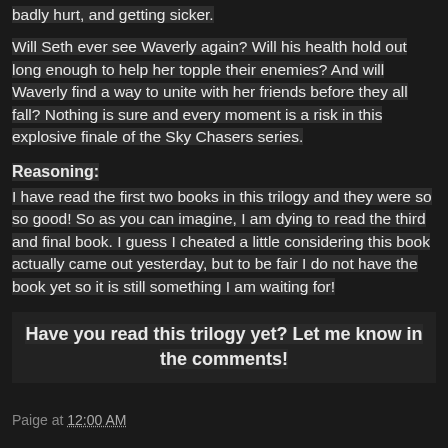badly hurt, and getting sicker.
Will Seth ever see Waverly again? Will his health hold out long enough to help her topple their enemies? And will Waverly find a way to unite with her friends before they all fall? Nothing is sure and every moment is a risk in this explosive finale of the Sky Chasers series.
Reasoning:
I have read the first two books in this trilogy and they were so so good! So as you can imagine, I am dying to read the third and final book. I guess I cheated a little considering this book actually came out yesterday, but to be fair I do not have the book yet so it is still something I am waiting for!
Have you read this trilogy yet? Let me know in the comments!
Paige at 12:00 AM